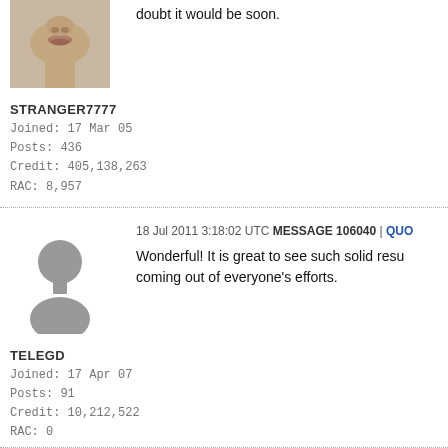[Figure (photo): Partial avatar photo of user STRANGER7777, showing lower face/chin area cropped at top of page]
doubt it would be soon.
STRANGER7777
Joined: 17 Mar 05
Posts: 436
Credit: 405,138,263
RAC: 8,957
18 Jul 2011 3:18:02 UTC MESSAGE 106040 | QUO
Wonderful! It is great to see such solid resu coming out of everyone's efforts.
[Figure (illustration): Default silhouette avatar placeholder for user TELEGD]
TELEGD
Joined: 17 Apr 07
Posts: 91
Credit: 10,212,522
RAC: 0